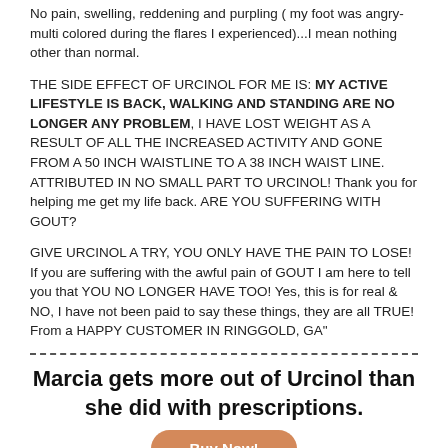No pain, swelling, reddening and purpling ( my foot was angry-multi colored during the flares I experienced)...I mean nothing other than normal.
THE SIDE EFFECT OF URCINOL FOR ME IS: MY ACTIVE LIFESTYLE IS BACK, WALKING AND STANDING ARE NO LONGER ANY PROBLEM, I HAVE LOST WEIGHT AS A RESULT OF ALL THE INCREASED ACTIVITY AND GONE FROM A 50 INCH WAISTLINE TO A 38 INCH WAIST LINE. ATTRIBUTED IN NO SMALL PART TO URCINOL! Thank you for helping me get my life back. ARE YOU SUFFERING WITH GOUT?
GIVE URCINOL A TRY, YOU ONLY HAVE THE PAIN TO LOSE! If you are suffering with the awful pain of GOUT I am here to tell you that YOU NO LONGER HAVE TOO! Yes, this is for real & NO, I have not been paid to say these things, they are all TRUE! From a HAPPY CUSTOMER IN RINGGOLD, GA"
Marcia gets more out of Urcinol than she did with prescriptions.